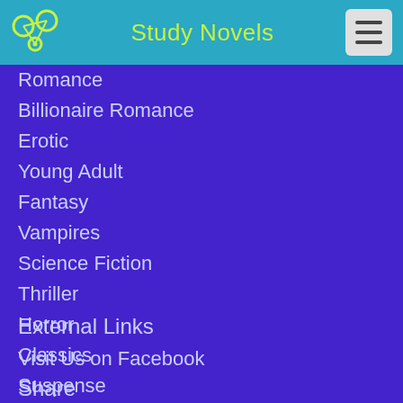Study Novels
Romance
Billionaire Romance
Erotic
Young Adult
Fantasy
Vampires
Science Fiction
Thriller
Horror
Classics
Suspense
External Links
Visit Us on Facebook
Share